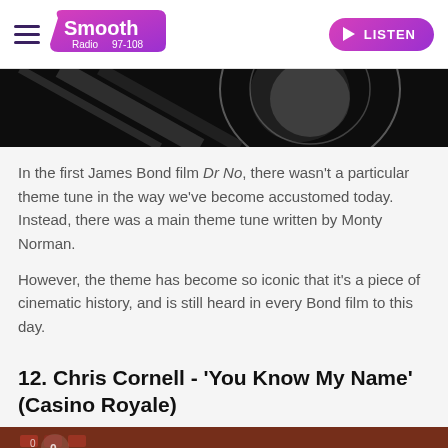Smooth Radio 97-108 | LISTEN
[Figure (photo): Dark close-up image with circular glare/reflection, black background, appears to be from a James Bond film opening sequence]
In the first James Bond film Dr No, there wasn't a particular theme tune in the way we've become accustomed today. Instead, there was a main theme tune written by Monty Norman.
However, the theme has become so iconic that it's a piece of cinematic history, and is still heard in every Bond film to this day.
12. Chris Cornell - 'You Know My Name' (Casino Royale)
[Figure (photo): Partial bottom image showing what appears to be a Casino Royale related scene with warm tones and a number 0 visible]